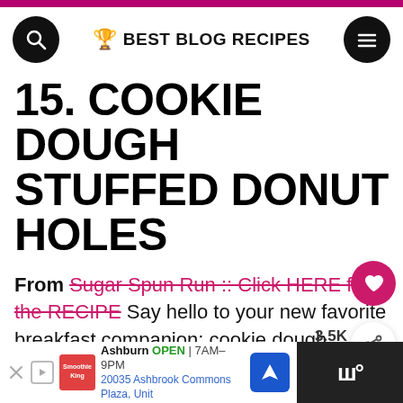BEST BLOG RECIPES
15. COOKIE DOUGH STUFFED DONUT HOLES
From Sugar Spun Run :: Click HERE for the RECIPE Say hello to your new favorite breakfast companion: cookie dough stuffed donut holes! No yeast-required, crammed full of cookie dough, and rolled in sea-salted chocolate sugar… you're probably going to want to make a second
Ashburn OPEN 7AM–9PM 20035 Ashbrook Commons Plaza, Unit